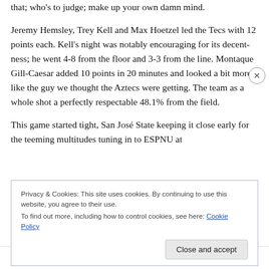that; who's to judge; make up your own damn mind.
Jeremy Hemsley, Trey Kell and Max Hoetzel led the Tecs with 12 points each. Kell's night was notably encouraging for its decent-ness; he went 4-8 from the floor and 3-3 from the line. Montaque Gill-Caesar added 10 points in 20 minutes and looked a bit more like the guy we thought the Aztecs were getting. The team as a whole shot a perfectly respectable 48.1% from the field.
This game started tight, San José State keeping it close early for the teeming multitudes tuning in to ESPNU at
Privacy & Cookies: This site uses cookies. By continuing to use this website, you agree to their use.
To find out more, including how to control cookies, see here: Cookie Policy
Close and accept
Advertisements